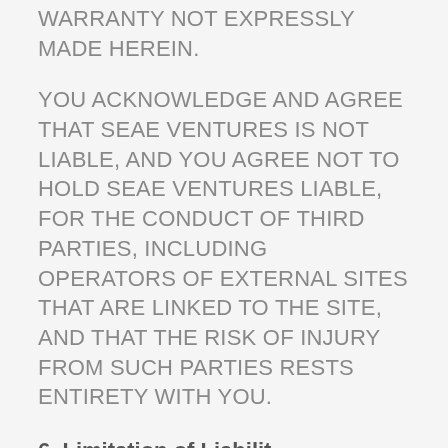WARRANTY NOT EXPRESSLY MADE HEREIN.
YOU ACKNOWLEDGE AND AGREE THAT SEAE VENTURES IS NOT LIABLE, AND YOU AGREE NOT TO HOLD SEAE VENTURES LIABLE, FOR THE CONDUCT OF THIRD PARTIES, INCLUDING OPERATORS OF EXTERNAL SITES THAT ARE LINKED TO THE SITE, AND THAT THE RISK OF INJURY FROM SUCH PARTIES RESTS ENTIRETY WITH YOU.
6. Limitation of Liabilit
TO THE MAXIMUM EXTENT